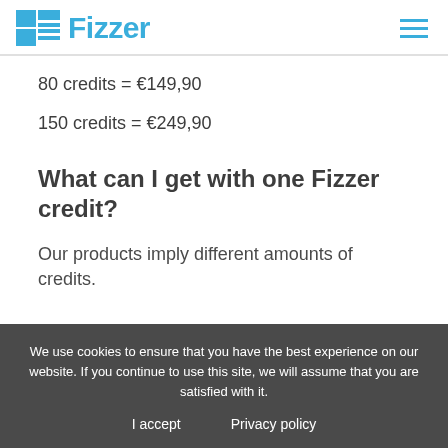Fizzer
80 credits = €149,90
150 credits = €249,90
What can I get with one Fizzer credit?
Our products imply different amounts of credits.
We use cookies to ensure that you have the best experience on our website. If you continue to use this site, we will assume that you are satisfied with it.
I accept    Privacy policy